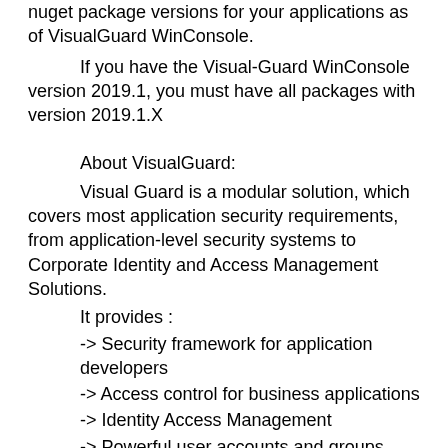nuget package versions for your applications as of VisualGuard WinConsole.
If you have the Visual-Guard WinConsole version 2019.1, you must have all packages with version 2019.1.X
About VisualGuard:
Visual Guard is a modular solution, which covers most application security requirements, from application-level security systems to Corporate Identity and Access Management Solutions.
It provides :
-> Security framework for application developers
-> Access control for business applications
-> Identity Access Management
-> Powerful user accounts and groups management features
-> Log data processing via the application
-> Monitor and Audit sensitive activities
-> Send email notifications for important events